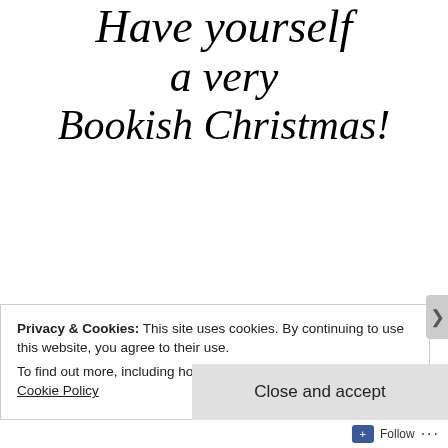Have yourself a very Bookish Christmas!
[Figure (illustration): Cartoon illustration of a person wearing a red Santa hat, bent over reading a green book, with a small decorated Christmas tree with a yellow star on top in the background. The tree has a sign that reads 'BOOKS'.]
Privacy & Cookies: This site uses cookies. By continuing to use this website, you agree to their use.
To find out more, including how to control cookies, see here: Cookie Policy
Close and accept